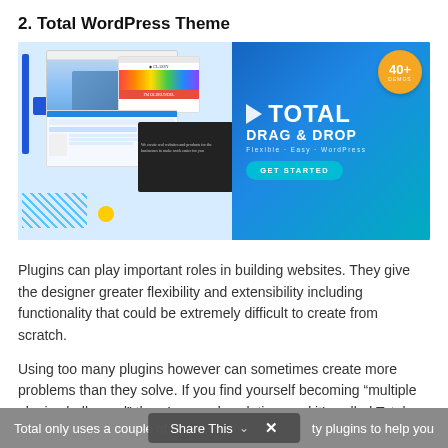2. Total WordPress Theme
[Figure (screenshot): Advertisement banner for Total WordPress Theme showing a collage of website mockups on the left and a blue promotional area on the right with '40+ Demos', 'TOTAL DRAG & DROP', 'Flexible · Easy · WordPress', and a 'GET STARTED' button.]
Plugins can play important roles in building websites. They give the designer greater flexibility and extensibility including functionality that could be extremely difficult to create from scratch.
Using too many plugins however can sometimes create more problems than they solve. If you find yourself becoming “multiple plugin challenged” there’s a ready solution, and it’s called Total.
Total only uses a couple of the party plugins to help you